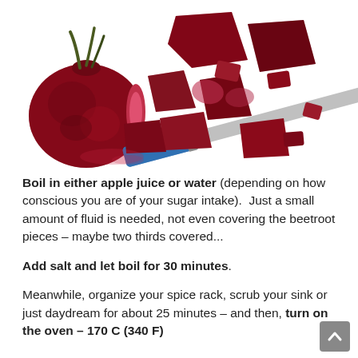[Figure (photo): Chopped deep red beetroot pieces and a whole beetroot on the left, with a blue-handled knife on the right, all on a white background.]
Boil in either apple juice or water (depending on how conscious you are of your sugar intake).  Just a small amount of fluid is needed, not even covering the beetroot pieces – maybe two thirds covered...
Add salt and let boil for 30 minutes.
Meanwhile, organize your spice rack, scrub your sink or just daydream for about 25 minutes – and then, turn on the oven – 170 C (340 F)